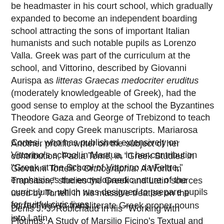be headmaster in his court school, which gradually expanded to become an independent boarding school attracting the sons of important Italian humanists and such notable pupils as Lorenzo Valla. Greek was part of the curriculum at the school, and Vittorino, described by Giovanni Aurispa as litteras Graecas medocriter eruditus (moderately knowledgeable of Greek), had the good sense to employ at the school the Byzantines Theodore Gaza and George of Trebizond to teach Greek and copy Greek manuscripts. Mariarosa Cortesi, who has published extensively on Vittorino's school in Mantua, in her contribution "Greek at the School of Vittorino da Feltre," emphasises the encyclopaedic nature of the curriculum, which was designed to prepare pupils for fruitful civic lives.
Another prolific writer on the subject of her contribution, Paola Tomè, in "Greek Studies in Giovanni Tortelli's Orthographia: A World in Transition," studies the Greek and Latin sources used by Tortelli in his massive treatise on the correct way to transliterate Greek proper nouns into Latin.
Denis J.-J. Robichaud in his "Working with Plotinus: A Study of Marsilio Ficino's Textual and Divinatory Philology"